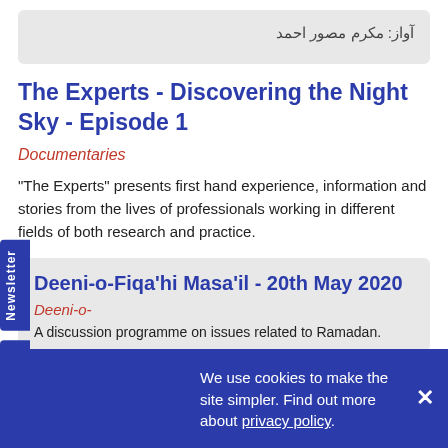آواز: مکرم مصور احمد
The Experts - Discovering the Night Sky - Episode 1
Documentaries
"The Experts" presents first hand experience, information and stories from the lives of professionals working in different fields of both research and practice.
Deeni-o-Fiqa'hi Masa'il - 20th May 2020
Deeni-o-
A discussion programme on issues related to Ramadan.
We use cookies to make the site simpler. Find out more about privacy policy.